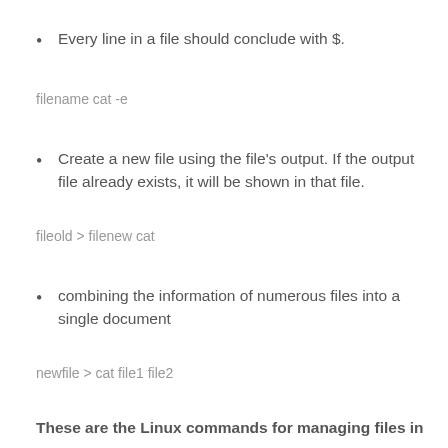Every line in a file should conclude with $.
filename cat -e
Create a new file using the file's output. If the output file already exists, it will be shown in that file.
fileold > filenew cat
combining the information of numerous files into a single document
newfile > cat file1 file2
These are the Linux commands for managing files in